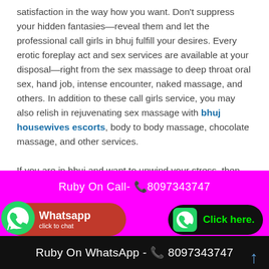satisfaction in the way how you want. Don't suppress your hidden fantasies—reveal them and let the professional call girls in bhuj fulfill your desires. Every erotic foreplay act and sex services are available at your disposal—right from the sex massage to deep throat oral sex, hand job, intense encounter, naked massage, and others. In addition to these call girls service, you may also relish in rejuvenating sex massage with bhuj housewives escorts, body to body massage, chocolate massage, and other services.

If you are in bhuj and want to unwind your stress, then this is a right opportunity to live your dream by hiring the most sensual call girls in bhuj. Dial their phone number or send
Ruby On Call- 📞8097343747
[Figure (infographic): WhatsApp click to chat button with green phone icon on the left and red background]
[Figure (infographic): Click here button with green phone icon and black background]
Ruby On WhatsApp - 📞 8097343747